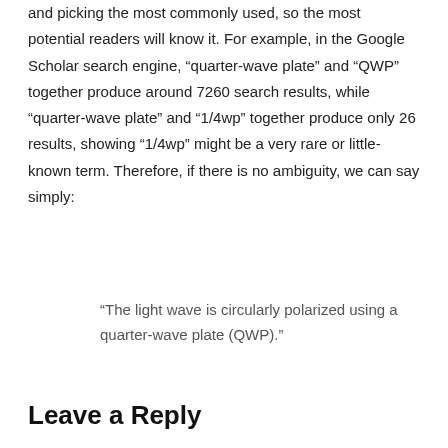and picking the most commonly used, so the most potential readers will know it. For example, in the Google Scholar search engine, “quarter-wave plate” and “QWP” together produce around 7260 search results, while “quarter-wave plate” and “1/4wp” together produce only 26 results, showing “1/4wp” might be a very rare or little-known term. Therefore, if there is no ambiguity, we can say simply:
“The light wave is circularly polarized using a quarter-wave plate (QWP).”
Leave a Reply